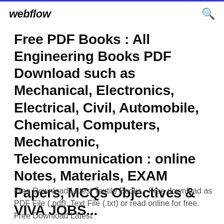webflow
Free PDF Books : All Engineering Books PDF Download such as Mechanical, Electronics, Electrical, Civil, Automobile, Chemical, Computers, Mechatronic, Telecommunication : online Notes, Materials, EXAM Papers, MCQs Objectives & VIVA JOBS...
Free Download Latest Textile Books - Free download as PDF File (.pdf), Text File (.txt) or read online for free. Free Download Latest